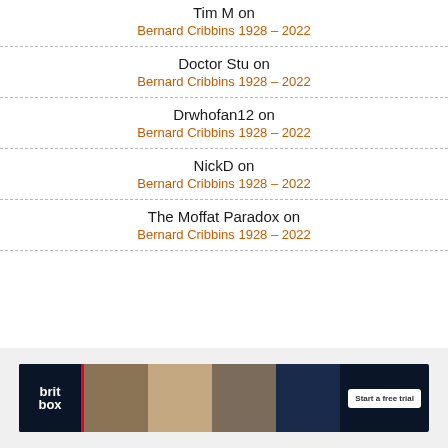Tim M on
Bernard Cribbins 1928 – 2022
Doctor Stu on
Bernard Cribbins 1928 – 2022
Drwhofan12 on
Bernard Cribbins 1928 – 2022
NickD on
Bernard Cribbins 1928 – 2022
The Moffat Paradox on
Bernard Cribbins 1928 – 2022
[Figure (screenshot): BritBox advertisement banner with logo, TV show images, and 'Start a free trial' button]